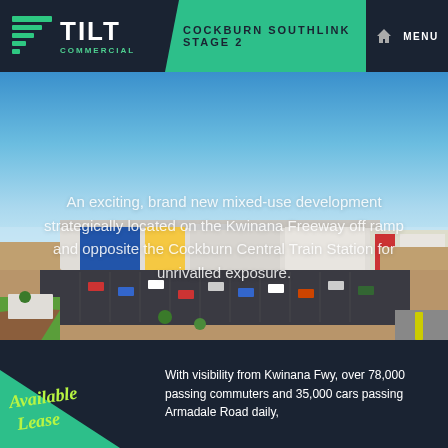TILT COMMERCIAL — COCKBURN SOUTHLINK STAGE 2
[Figure (photo): Aerial architectural render of Cockburn Southlink Stage 2 mixed-use development showing large retail/commercial buildings, car parks, and surrounding roads under a blue sky]
An exciting, brand new mixed-use development strategically located on the Kwinana Freeway off ramp and opposite the Cockburn Central Train Station for unrivalled exposure.
With visibility from Kwinana Fwy, over 78,000 passing commuters and 35,000 cars passing Armadale Road daily,
[Figure (illustration): Available Lease script text logo in green on dark background with green triangle shape]